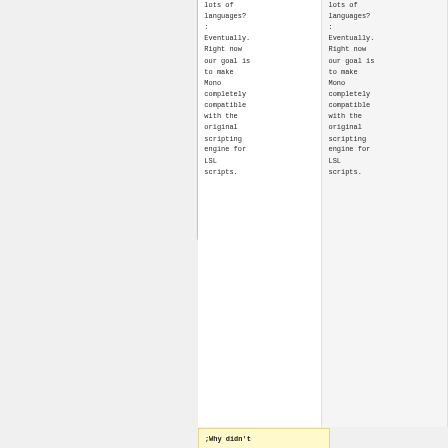lots of languages?
: Eventually. Right now our goal is to make Mono completely compatible with the original scripting engine for LSL scripts.
lots of languages?
: Eventually. Right now our goal is to make Mono completely compatible with the original scripting engine for LSL scripts.
;Why didn't you use <favorite_la nguage> instead of Mono? (is